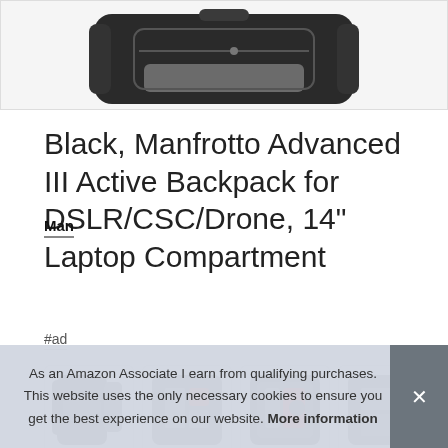[Figure (photo): Top portion of a Manfrotto Advanced III Active Backpack (black) shown from above/front angle, cropped at the top of the page.]
Black, Manfrotto Advanced III Active Backpack for DSLR/CSC/Drone, 14" Laptop Compartment
#ad
[Figure (photo): Four thumbnail images of the Manfrotto Advanced III Active Backpack showing different angles: front/side view, open back compartment with gear, open front compartment, open top/side view.]
Man
As an Amazon Associate I earn from qualifying purchases. This website uses the only necessary cookies to ensure you get the best experience on our website. More information